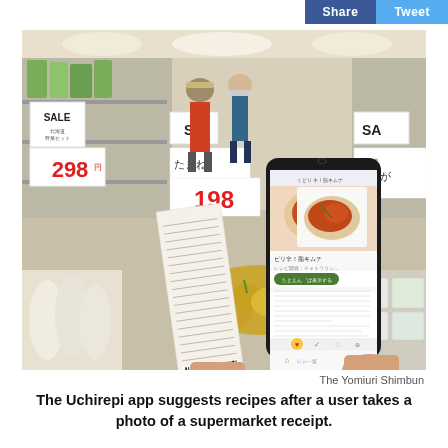Share  Tweet
[Figure (photo): A person holds a supermarket receipt in one hand and a smartphone running the Uchirepi app in the other hand, standing in a grocery store produce aisle. The phone screen shows a recipe suggestion with a photo of a dish and Japanese text. In the background are sale signs with prices like 298 and 198, onions, and other vegetables.]
The Yomiuri Shimbun
The Uchirepi app suggests recipes after a user takes a photo of a supermarket receipt.